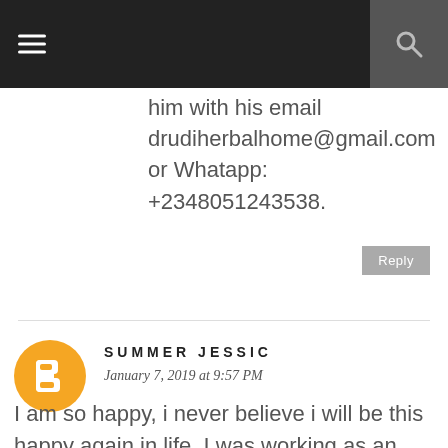≡  [search icon]
him with his email drudiherbalhome@gmail.com or Whatapp: +2348051243538.
Reply
SUMMER JESSIC
January 7, 2019 at 9:57 PM
I am so happy, i never believe i will be this happy again in life, I was working as an air-hoster ( cabby crew ) for 3years but early this year, i loose my job because of this deadly disease called Herpes virus (HSV). I